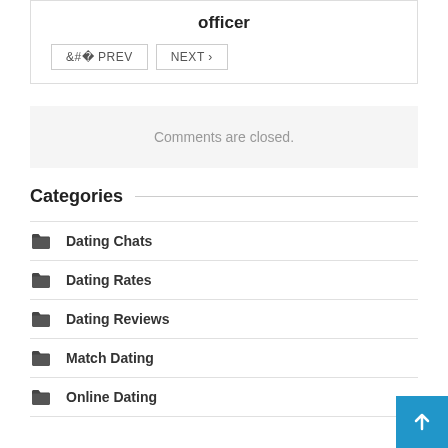officer
< PREV   NEXT >
Comments are closed.
Categories
Dating Chats
Dating Rates
Dating Reviews
Match Dating
Online Dating